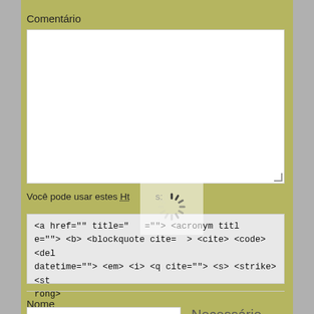Comentário
[Figure (screenshot): Large empty textarea input box with white background and resize handle in bottom-right corner]
Você pode usar estes Html tags:
[Figure (other): Loading spinner overlay (spinning wheel animation)]
<a href="" title="" =""> <acronym title=""> <b> <blockquote cite=""> <cite> <code> <del datetime=""> <em> <i> <q cite=""> <s> <strike> <strong>
Nome
[Figure (screenshot): Text input field (Nome) with white background, and 'Necessário' label to the right]